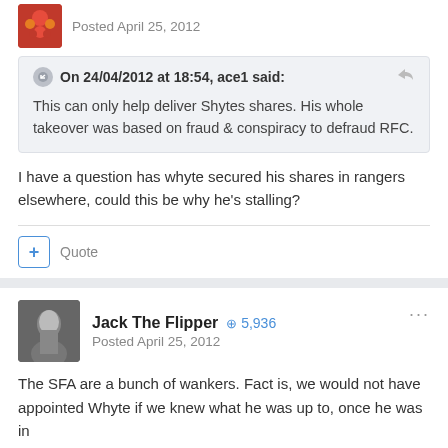Posted April 25, 2012
On 24/04/2012 at 18:54, ace1 said:
This can only help deliver Shytes shares. His whole takeover was based on fraud & conspiracy to defraud RFC.
I have a question has whyte secured his shares in rangers elsewhere, could this be why he's stalling?
Quote
Jack The Flipper  5,936
Posted April 25, 2012
The SFA are a bunch of wankers. Fact is, we would not have appointed Whyte if we knew what he was up to, once he was in